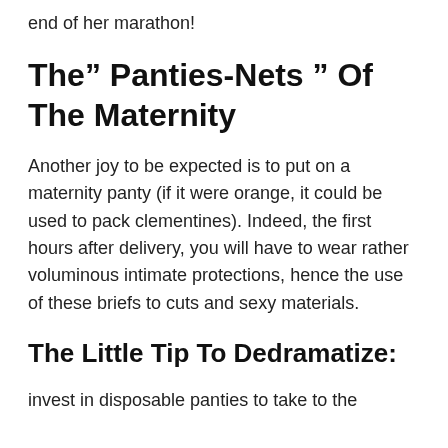end of her marathon!
The” Panties-Nets ” Of The Maternity
Another joy to be expected is to put on a maternity panty (if it were orange, it could be used to pack clementines). Indeed, the first hours after delivery, you will have to wear rather voluminous intimate protections, hence the use of these briefs to cuts and sexy materials.
The Little Tip To Dedramatize:
invest in disposable panties to take to the